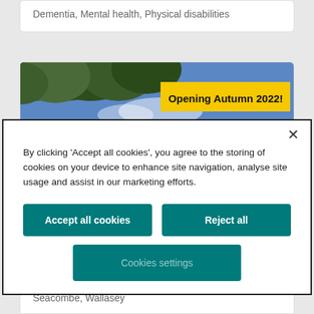Dementia, Mental health, Physical disabilities
[Figure (photo): Outdoor scene with tree branches and blue sky, with a yellow banner overlay reading 'Opening Autumn 2022!']
By clicking 'Accept all cookies', you agree to the storing of cookies on your device to enhance site navigation, analyse site usage and assist in our marketing efforts.
Accept all cookies
Reject all
Cookies settings
Seacombe, Wallasey